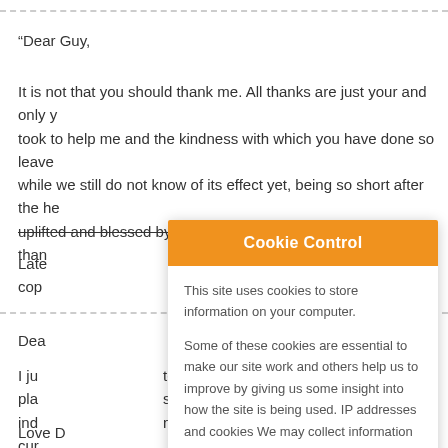— — — — — — — — — — — — — — — — — — — — — — — — — — — — — — — — — —
“Dear Guy,
It is not that you should thank me. All thanks are just your and only y took to help me and the kindness with which you have done so leave while we still do not know of its effect yet, being so short after the he uplifted and blessed by what you have done for me. Thank you, than
Late ry “physical” treatments……(“ cop
— — — — — — — — — — — — — — —
Dea
I ju test after a month chemo. The pla s, but the accompanying prote ind ng that also the plasma cells w cur
Love D
[Figure (other): Cookie Control popup overlay. Orange header with text 'Cookie Control' in white bold. White body with text: 'This site uses cookies to store information on your computer. Some of these cookies are essential to make our site work and others help us to improve by giving us some insight into how the site is being used. IP addresses and cookies We may collect information']